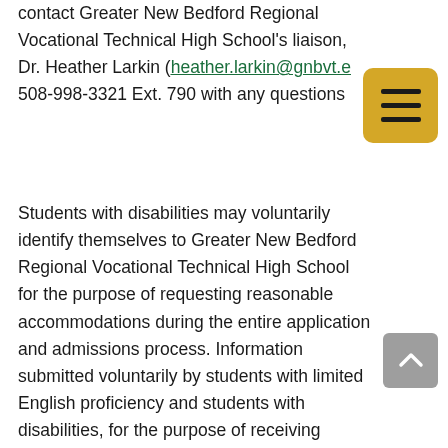contact Greater New Bedford Regional Vocational Technical High School's liaison, Dr. Heather Larkin (heather.larkin@gnbvt.e… 508-998-3321 Ext. 790 with any questions
Students with disabilities may voluntarily identify themselves to Greater New Bedford Regional Vocational Technical High School for the purpose of requesting reasonable accommodations during the entire application and admissions process. Information submitted voluntarily by students with limited English proficiency and students with disabilities, for the purpose of receiving assistance and accommodations during the entire application and admissions process, will not affect their admission to the school.